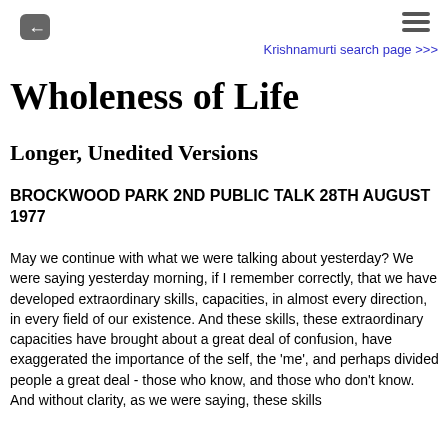Krishnamurti search page >>>
Wholeness of Life
Longer, Unedited Versions
BROCKWOOD PARK 2ND PUBLIC TALK 28TH AUGUST 1977
May we continue with what we were talking about yesterday? We were saying yesterday morning, if I remember correctly, that we have developed extraordinary skills, capacities, in almost every direction, in every field of our existence. And these skills, these extraordinary capacities have brought about a great deal of confusion, have exaggerated the importance of the self, the 'me', and perhaps divided people a great deal - those who know, and those who don't know. And without clarity, as we were saying, these skills